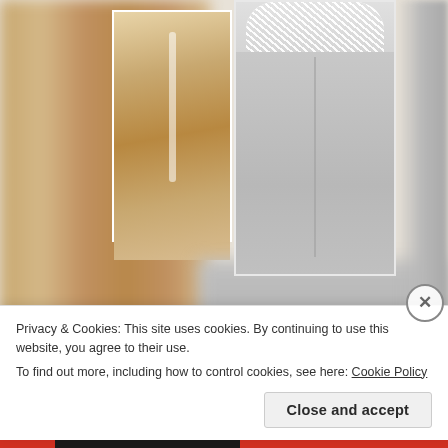[Figure (photo): Two coats displayed: left is a beige/tan long coat in garment bag, right is a grey coat with white faux fur collar. Images are partially blurred/cropped at edges.]
I'm a sucker when it comes to light colours and pastel shades. Both types here carry a beautiful faux fur collar which is an added bonus if you ask me!
Fur has become so popular for winter in the last few
Privacy & Cookies: This site uses cookies. By continuing to use this website, you agree to their use.
To find out more, including how to control cookies, see here: Cookie Policy
Close and accept